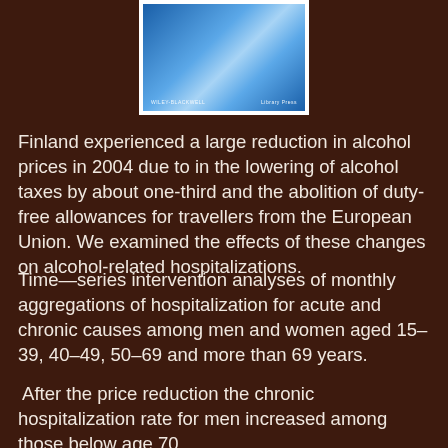[Figure (illustration): Book cover image showing a blue gradient design with publisher logos (Wiley-Blackwell and Library Press) at the bottom]
Finland experienced a large reduction in alcohol prices in 2004 due to in the lowering of alcohol taxes by about one-third and the abolition of duty-free allowances for travellers from the European Union. We examined the effects of these changes on alcohol-related hospitalizations.
Time—series intervention analyses of monthly aggregations of hospitalization for acute and chronic causes among men and women aged 15–39, 40–49, 50–69 and more than 69 years.
After the price reduction the chronic hospitalization rate for men increased among those below age 70